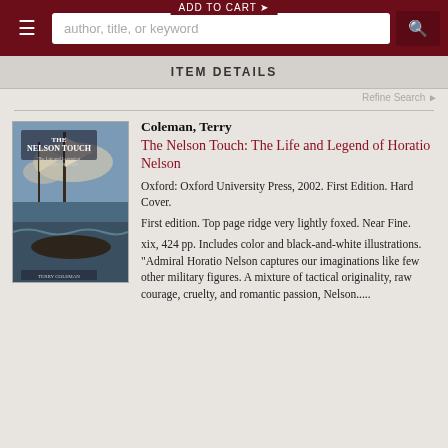ADD TO CART
author, title, or keyword
ITEM DETAILS
Refine Search
[Figure (photo): Book cover of 'The Nelson Touch: The Life and Legend of Horatio Nelson' by Terry Coleman, showing a naval battle scene with tall ships]
Coleman, Terry
The Nelson Touch: The Life and Legend of Horatio Nelson
Oxford: Oxford University Press, 2002. First Edition. Hard Cover.
First edition. Top page ridge very lightly foxed. Near Fine.
xix, 424 pp. Includes color and black-and-white illustrations. "Admiral Horatio Nelson captures our imaginations like few other military figures. A mixture of tactical originality, raw courage, cruelty, and romantic passion, Nelson......